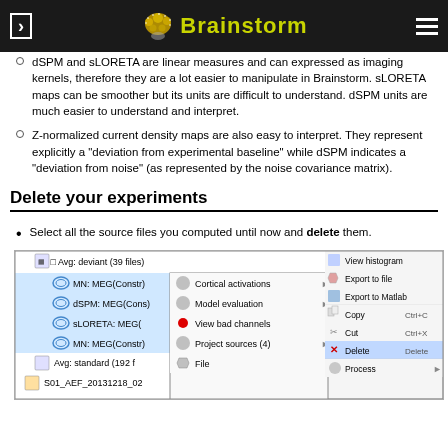Brainstorm
dSPM and sLORETA are linear measures and can expressed as imaging kernels, therefore they are a lot easier to manipulate in Brainstorm. sLORETA maps can be smoother but its units are difficult to understand. dSPM units are much easier to understand and interpret.
Z-normalized current density maps are also easy to interpret. They represent explicitly a "deviation from experimental baseline" while dSPM indicates a "deviation from noise" (as represented by the noise covariance matrix).
Delete your experiments
Select all the source files you computed until now and delete them.
[Figure (screenshot): Screenshot of Brainstorm software showing a file tree with entries 'Avg: deviant (39 files)', MN: MEG(Constr), dSPM: MEG(Cons), sLORETA: MEG, MN: MEG(Constr), Avg: standard (192 f), S01_AEF_20131218_02, and a right-click context menu showing options: Cortical activations, Model evaluation, View bad channels, Project sources (4), File, View histogram, Export to file, Export to Matlab, Copy Ctrl+C, Cut Ctrl+X, Delete Delete, Process.]